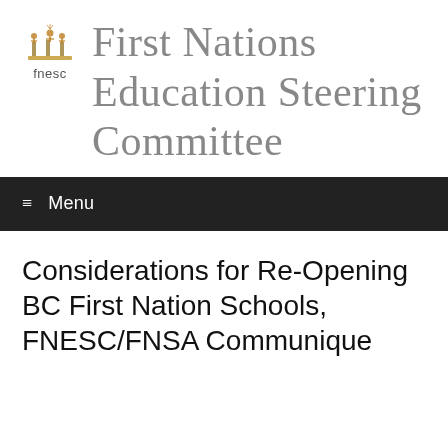[Figure (logo): FNESC logo: decorative emblem with figures on top, and the text 'fnesc' below in grey]
First Nations Education Steering Committee
≡ Menu
Considerations for Re-Opening BC First Nation Schools, FNESC/FNSA Communique